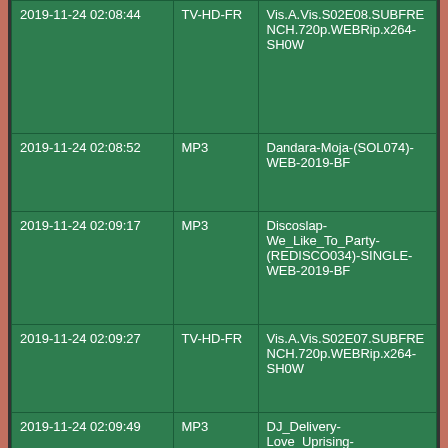| 2019-11-24 02:08:44 | TV-HD-FR | Vis.A.Vis.S02E08.SUBFRENCH.720p.WEBRip.x264-SH0W |
| 2019-11-24 02:08:52 | MP3 | Dandara-Moja-(SOL074)-WEB-2019-BF |
| 2019-11-24 02:09:17 | MP3 | Discoslap-We_Like_To_Party-(REDISCO034)-SINGLE-WEB-2019-BF |
| 2019-11-24 02:09:27 | TV-HD-FR | Vis.A.Vis.S02E07.SUBFRENCH.720p.WEBRip.x264-SH0W |
| 2019-11-24 02:09:49 | MP3 | DJ_Delivery-Love_Uprising-(505903_3922884)-WEB-2019-BF |
| 2019-11-24 02:10:16 | MP3 | DJ_Kosmas_K-Velvet_Arp-(LADAL19045)-WEB- |